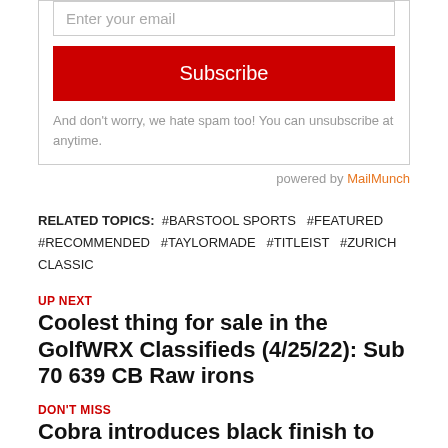Enter your email
Subscribe
And don't worry, we hate spam too! You can unsubscribe at anytime.
powered by MailMunch
RELATED TOPICS: #BARSTOOL SPORTS #FEATURED #RECOMMENDED #TAYLORMADE #TITLEIST #ZURICH CLASSIC
UP NEXT
Coolest thing for sale in the GolfWRX Classifieds (4/25/22): Sub 70 639 CB Raw irons
DON'T MISS
Cobra introduces black finish to King 3D printed and vintage series putters
[Figure (other): Author avatar circle placeholder]